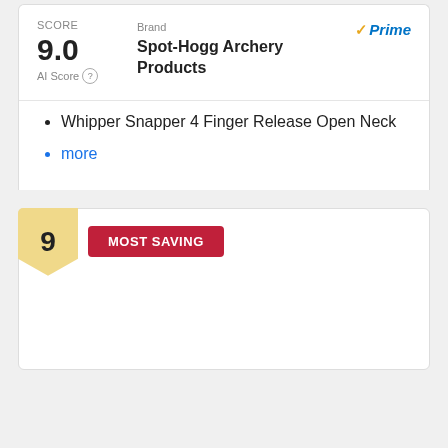SCORE
9.0
AI Score
Brand
Prime
Spot-Hogg Archery Products
Whipper Snapper 4 Finger Release Open Neck
more
9
MOST SAVING